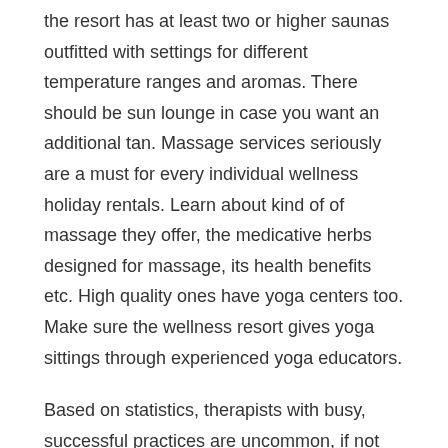the resort has at least two or higher saunas outfitted with settings for different temperature ranges and aromas. There should be sun lounge in case you want an additional tan. Massage services seriously are a must for every individual wellness holiday rentals. Learn about kind of of massage they offer, the medicative herbs designed for massage, its health benefits etc. High quality ones have yoga centers too. Make sure the wellness resort gives yoga sittings through experienced yoga educators.
Based on statistics, therapists with busy, successful practices are uncommon, if not rare. It is for this reason that therapists frustrate over their poor lifestyles and quiet days. Massage is fantastic career, however for many, nintendo wii way to make money. In order for such an organization to work, there is to be some massage advertising in the area put instead in order for the trip massage therapist to get work.
You can create your own spa-like environment at home in your